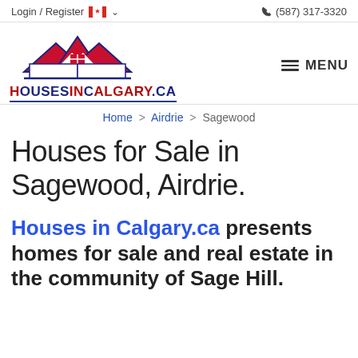Login / Register  (587) 317-3320
[Figure (logo): HousesinCalgary.ca logo with house/mountain roof graphic in red and dark blue, followed by HOUSESINCALGARY.CA text in red and blue]
MENU
Home > Airdrie > Sagewood
Houses for Sale in Sagewood, Airdrie.
Houses in Calgary.ca presents homes for sale and real estate in the community of Sage Hill.